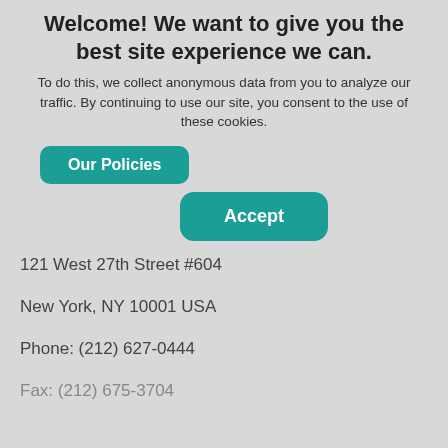Welcome! We want to give you the best site experience we can.
To do this, we collect anonymous data from you to analyze our traffic. By continuing to use our site, you consent to the use of these cookies.
Our Policies
Accept
121 West 27th Street #604
New York, NY 10001 USA
Phone: (212) 627-0444
Fax: (212) 675-3704